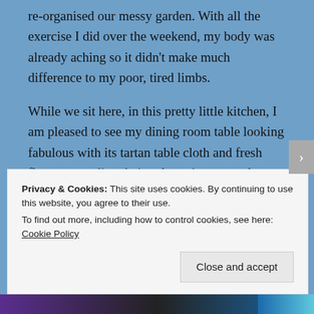re-organised our messy garden. With all the exercise I did over the weekend, my body was already aching so it didn't make much difference to my poor, tired limbs.
While we sit here, in this pretty little kitchen, I am pleased to see my dining room table looking fabulous with its tartan table cloth and fresh flowers parading their colours in a neutral vase. The sitting room is set up and comfy with a cracking fireplace and the bedrooms are spacious, ready to swallow up tired members of the family.  Don't look to closely along the landing as that seems to be the holding place
Privacy & Cookies: This site uses cookies. By continuing to use this website, you agree to their use.
To find out more, including how to control cookies, see here: Cookie Policy
Close and accept